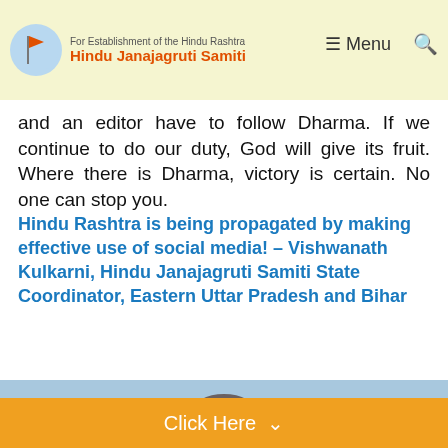For Establishment of the Hindu Rashtra | Hindu Janajagruti Samiti | Menu
and an editor have to follow Dharma. If we continue to do our duty, God will give its fruit. Where there is Dharma, victory is certain. No one can stop you.
Hindu Rashtra is being propagated by making effective use of social media! – Vishwanath Kulkarni, Hindu Janajagruti Samiti State Coordinator, Eastern Uttar Pradesh and Bihar
[Figure (photo): Portrait photo of Vishwanath Kulkarni wearing orange clothing, glasses, with a red tilak on forehead, against a light blue background]